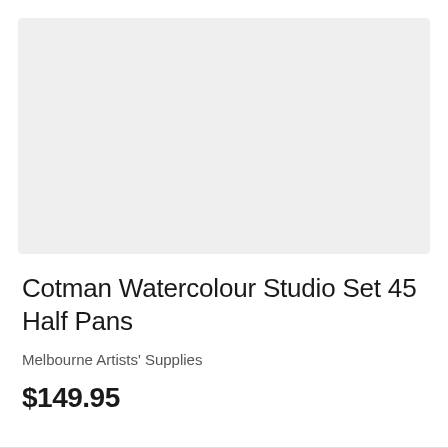[Figure (photo): Product image placeholder — light grey rectangle representing a product photo area]
Cotman Watercolour Studio Set 45 Half Pans
Melbourne Artists' Supplies
$149.95